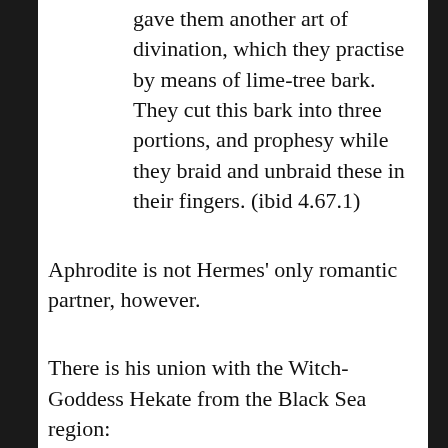gave them another art of divination, which they practise by means of lime-tree bark. They cut this bark into three portions, and prophesy while they braid and unbraid these in their fingers. (ibid 4.67.1)
Aphrodite is not Hermes' only romantic partner, however.
There is his union with the Witch-Goddess Hekate from the Black Sea region:
We are told that Helios had two sons, Aeëtes and Perses. Aeëtes being the